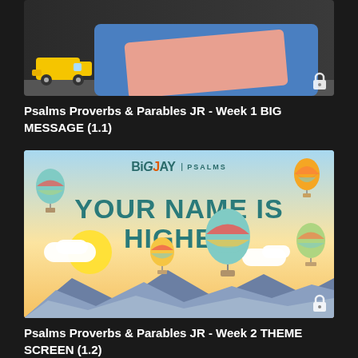[Figure (photo): Thumbnail image showing colorful foam play mats (blue and pink) on a dark floor with yellow toy truck/car visible at left edge. A lock icon appears in the bottom right corner.]
Psalms Proverbs & Parables JR - Week 1 BIG MESSAGE (1.1)
[Figure (illustration): Illustrated thumbnail with hot air balloons floating over mountains at sunset. Text reads 'YOUR NAME IS HIGHER' in large teal letters. BigJay | PSALMS logo at top center. A lock icon appears in the bottom right corner.]
Psalms Proverbs & Parables JR - Week 2 THEME SCREEN (1.2)